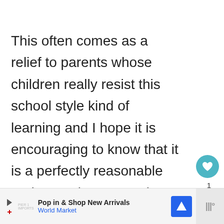This often comes as a relief to parents whose children really resist this school style kind of learning and I hope it is encouraging to know that it is a perfectly reasonable and normal response in many children. They may just not suit sitting down or
[Figure (screenshot): Social media UI elements: heart/like button (teal circle with heart icon), like count '1', share button, and 'What's Next' recommendation widget showing 'How To Homeschool...' with thumbnail]
[Figure (screenshot): Advertisement bar at bottom: 'Pop in & Shop New Arrivals / World Market' with play button, brand logo, blue navigation icon, and audio waveform icon on grey background]